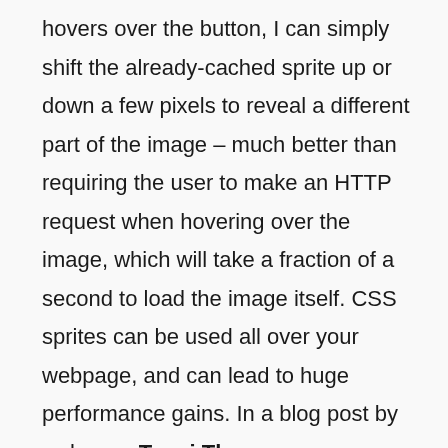hovers over the button, I can simply shift the already-cached sprite up or down a few pixels to reveal a different part of the image – much better than requiring the user to make an HTTP request when hovering over the image, which will take a fraction of a second to load the image itself. CSS sprites can be used all over your webpage, and can lead to huge performance gains. In a blog post by web guru Tenni Theurer, an estimated half of all visitors to your website come with an empty cache – as first-time